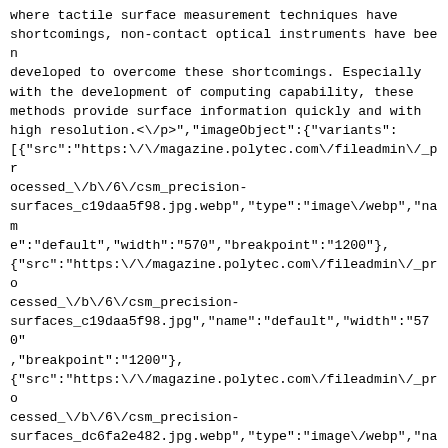where tactile surface measurement techniques have shortcomings, non-contact optical instruments have been developed to overcome these shortcomings. Especially with the development of computing capability, these methods provide surface information quickly and with high resolution.<\/p>","imageObject":{"variants": [{"src":"https:\/\/magazine.polytec.com\/fileadmin\/_pr ocessed_\/b\/6\/csm_precision-surfaces_c19daa5f98.jpg.webp","type":"image\/webp","nam e":"default","width":"570","breakpoint":"1200"}, {"src":"https:\/\/magazine.polytec.com\/fileadmin\/_pro cessed_\/b\/6\/csm_precision-surfaces_c19daa5f98.jpg","name":"default","width":"570" ,"breakpoint":"1200"}, {"src":"https:\/\/magazine.polytec.com\/fileadmin\/_pro cessed_\/b\/6\/csm_precision-surfaces_dc6fa2e482.jpg.webp","type":"image\/webp","nam e":"large","width":"900","breakpoint":"992"}, {"src":"https:\/\/magazine.polytec.com\/fileadmin\/_pro cessed_\/b\/6\/csm_precision-surfaces_dc6fa2e482.jpg","name":"large","width":"900"," breakpoint":"992"}, {"src":"https:\/\/magazine.polytec.com\/fileadmin\/maga zine\/vibrometry\/image\/precision-surfaces.jpg.webp","type":"image\/webp","name":"medium" ,"width":"1380","breakpoint":"768"}, {"src":"https:\/\/magazine.polytec.com\/fileadmin\/maga zine\/vibrometry\/image\/precision-surfaces.jpg","name":"medium","width":"1380","breakpoin t":"768"},